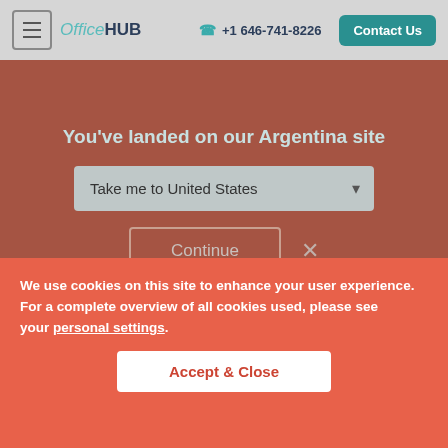OfficeHUB  +1 646-741-8226  Contact Us
You've landed on our Argentina site
Take me to United States
Continue  ×
| To register you as a new customer | (a) Identity

(b) Contact |
We use cookies on this site to enhance your user experience. For a complete overview of all cookies used, please see your personal settings.
Accept & Close